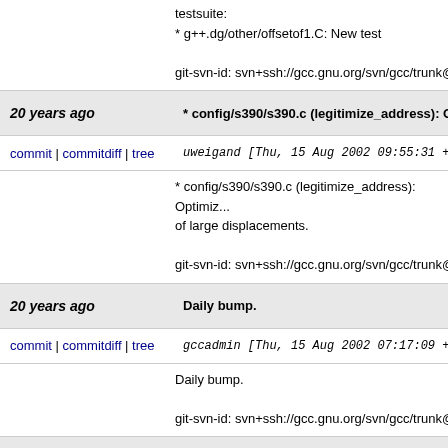testsuite:
* g++.dg/other/offsetof1.C: New test

git-svn-id: svn+ssh://gcc.gnu.org/svn/gcc/trunk@5
20 years ago
* config/s390/s390.c (legitimize_address): Opti
commit | commitdiff | tree
uweigand [Thu, 15 Aug 2002 09:55:31 +000
* config/s390/s390.c (legitimize_address): Optimi... of large displacements.

git-svn-id: svn+ssh://gcc.gnu.org/svn/gcc/trunk@5
20 years ago
Daily bump.
commit | commitdiff | tree
gccadmin [Thu, 15 Aug 2002 07:17:09 +000
Daily bump.

git-svn-id: svn+ssh://gcc.gnu.org/svn/gcc/trunk@5
20 years ago
* config/alpha/alpha-protos.h: Update.
commit | commitdiff | tree
rupp [Thu, 15 Aug 2002 05:04:27 +0000 (0
* config/alpha/alpha-protos.h: Update.